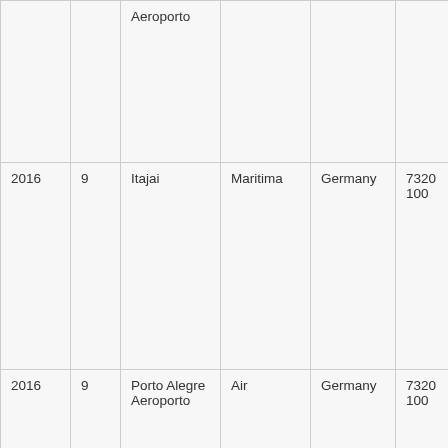|  |  | Aeroporto |  |  |  |
| 2016 | 9 | Itajai | Maritima | Germany | 7320100 |
| 2016 | 9 | Porto Alegre Aeroporto | Air | Germany | 7320100 |